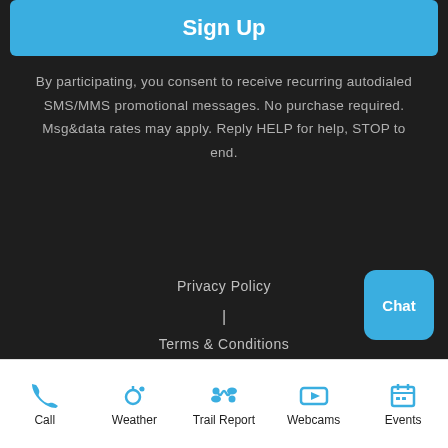Sign Up
By participating, you consent to receive recurring autodialed SMS/MMS promotional messages. No purchase required. Msg&data rates may apply. Reply HELP for help, STOP to end.
Privacy Policy
|
Terms & Conditions
.mobinitiButton {background-color: #3aaee0; float: none;}.poweredDiv {float: none;} .mobiniti label {color: #3aaee0;}
Chat
Call | Weather | Trail Report | Webcams | Events